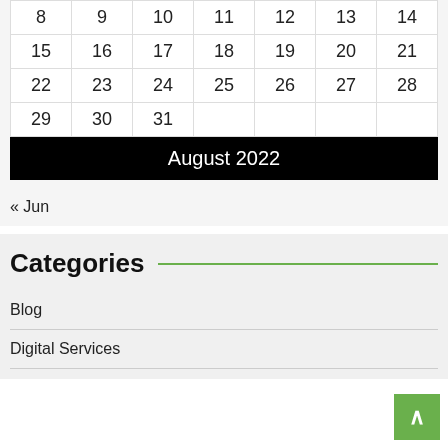| 8 | 9 | 10 | 11 | 12 | 13 | 14 |
| 15 | 16 | 17 | 18 | 19 | 20 | 21 |
| 22 | 23 | 24 | 25 | 26 | 27 | 28 |
| 29 | 30 | 31 |  |  |  |  |
August 2022
« Jun
Categories
Blog
Digital Services